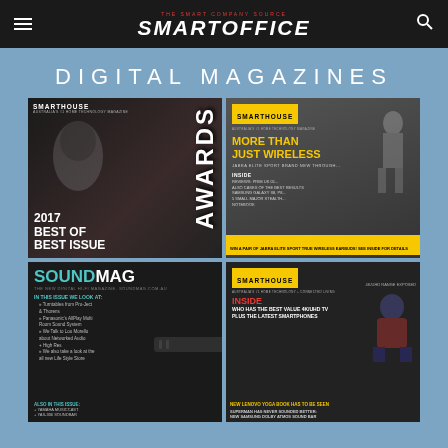SMARTOFFICE — THE SMART COMPANY SOURCE
DIGITAL MAGAZINES
[Figure (photo): Smarthouse Awards 2017 Best of Best Issue magazine cover with masked woman and text AWARDS]
[Figure (photo): Smarthouse magazine cover More Than Just Wireless featuring athletic woman with wireless earbuds]
[Figure (photo): SoundMag digital hi-fi magazine cover with soundbar and list of articles]
[Figure (photo): Smarthouse magazine cover Inside featuring Superman and Lenovo Yoga Book]